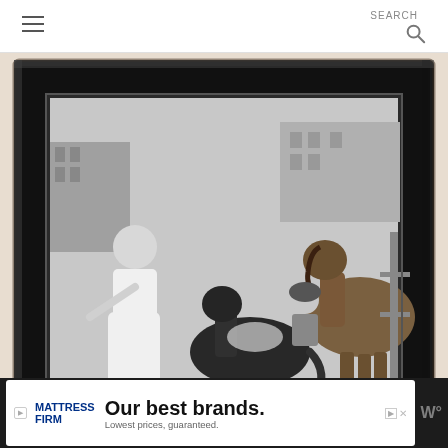SEARCH
[Figure (photo): A dark distressed wooden picture frame hung on a beige wall, containing a black-and-white vintage photograph of a woman in a white dress standing next to ponies and a horse outdoors, with buildings in the background.]
I hung the vintage hanger/frame holder & my 3/4 bath.
WHAT'S NEXT → Easy Re-purposed...
[Figure (photo): Small thumbnail image of wood/paint products for Easy Repurposed article]
Our best brands. Lowest prices, guaranteed.